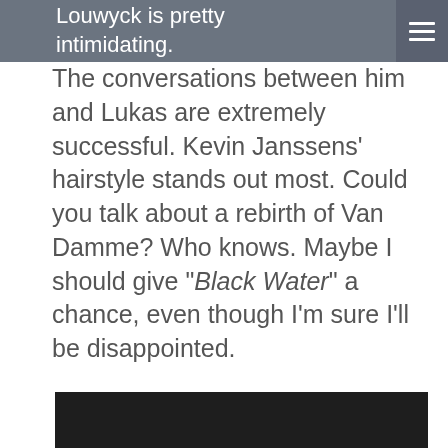Louwyck is pretty intimidating.
The conversations between him and Lukas are extremely successful. Kevin Janssens' hairstyle stands out most. Could you talk about a rebirth of Van Damme? Who knows. Maybe I should give "Black Water" a chance, even though I'm sure I'll be disappointed.
[Figure (photo): Dark/black image at the bottom of the page, partially visible]